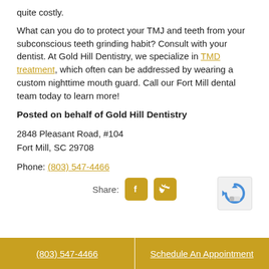quite costly.
What can you do to protect your TMJ and teeth from your subconscious teeth grinding habit? Consult with your dentist. At Gold Hill Dentistry, we specialize in TMD treatment, which often can be addressed by wearing a custom nighttime mouth guard. Call our Fort Mill dental team today to learn more!
Posted on behalf of Gold Hill Dentistry
2848 Pleasant Road, #104
Fort Mill, SC 29708
Phone: (803) 547-4466
Share:
(803) 547-4466    Schedule An Appointment